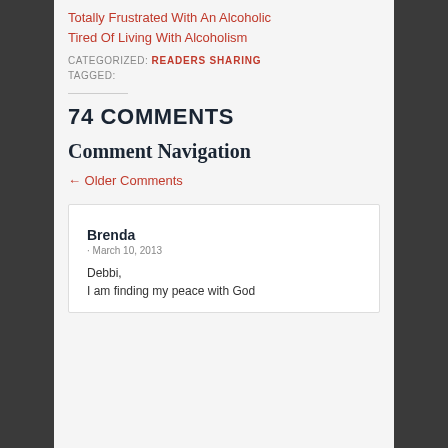Totally Frustrated With An Alcoholic Tired Of Living With Alcoholism
CATEGORIZED: READERS SHARING
TAGGED:
74 COMMENTS
Comment Navigation
← Older Comments
Brenda
· March 10, 2013
Debbi,
I am finding my peace with God